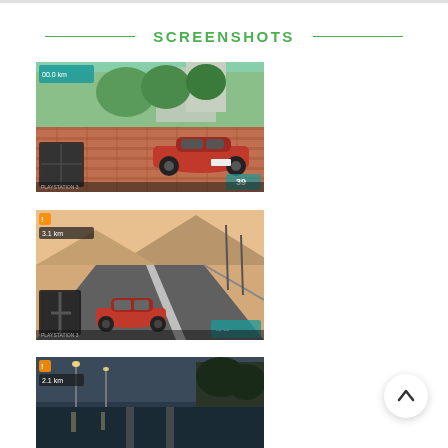SCREENSHOTS
[Figure (screenshot): Racing game screenshot showing a red sports car on a brick plaza area with trees and buildings in background, HUD elements visible including minimap and speedometer showing 39]
[Figure (screenshot): Racing game screenshot showing a red sports car on a highway with desert mountains in the background and a navigation mini-map in lower left corner]
[Figure (screenshot): Racing game screenshot showing a red sports car on a wet night road with street lights and trees, partially cut off at bottom of page]